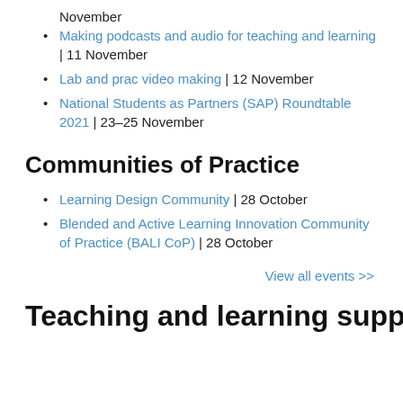November
Making podcasts and audio for teaching and learning | 11 November
Lab and prac video making | 12 November
National Students as Partners (SAP) Roundtable 2021 | 23–25 November
Communities of Practice
Learning Design Community | 28 October
Blended and Active Learning Innovation Community of Practice (BALI CoP) | 28 October
View all events >>
Teaching and learning support